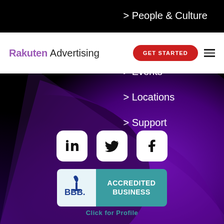[Figure (screenshot): Rakuten Advertising website navigation screenshot showing header with logo, GET STARTED button, hamburger menu, and navigation menu items including People & Culture, Job Listings (struck through), Events, Locations, Support on a dark purple/black background, with social media icons (LinkedIn, Twitter, Facebook) and a BBB Accredited Business badge]
Rakuten Advertising
> People & Culture
> Job Listings
> Events
> Locations
> Support
Click for Profile